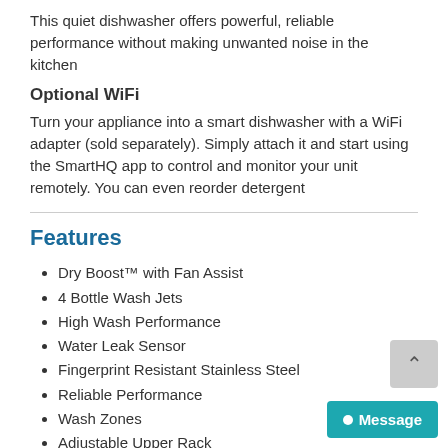This quiet dishwasher offers powerful, reliable performance without making unwanted noise in the kitchen
Optional WiFi
Turn your appliance into a smart dishwasher with a WiFi adapter (sold separately). Simply attach it and start using the SmartHQ app to control and monitor your unit remotely. You can even reorder detergent
Features
Dry Boost™ with Fan Assist
4 Bottle Wash Jets
High Wash Performance
Water Leak Sensor
Fingerprint Resistant Stainless Steel
Reliable Performance
Wash Zones
Adjustable Upper Rack
Steam + Sani